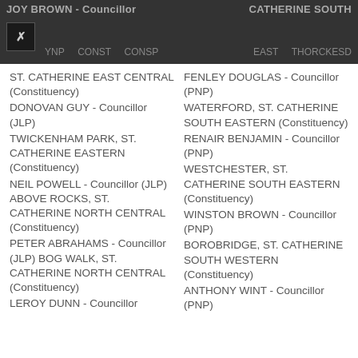JOY BROWN - Councillor | CATHERINE SOUTH
ST. CATHERINE EAST CENTRAL (Constituency) DONOVAN GUY - Councillor (JLP) TWICKENHAM PARK, ST. CATHERINE EASTERN (Constituency) NEIL POWELL - Councillor (JLP) ABOVE ROCKS, ST. CATHERINE NORTH CENTRAL (Constituency) PETER ABRAHAMS - Councillor (JLP) BOG WALK, ST. CATHERINE NORTH CENTRAL (Constituency) LEROY DUNN - Councillor
FENLEY DOUGLAS - Councillor (PNP) WATERFORD, ST. CATHERINE SOUTH EASTERN (Constituency) RENAIR BENJAMIN - Councillor (PNP) WESTCHESTER, ST. CATHERINE SOUTH EASTERN (Constituency) WINSTON BROWN - Councillor (PNP) BOROBRIDGE, ST. CATHERINE SOUTH WESTERN (Constituency) ANTHONY WINT - Councillor (PNP)